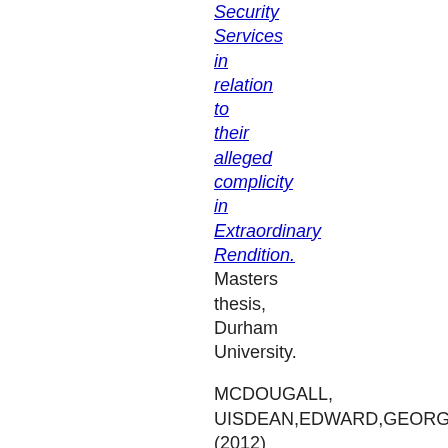Security Services in relation to their alleged complicity in Extraordinary Rendition. Masters thesis, Durham University.
MCDOUGALL, UISDEAN,EDWARD,GEORGE (2012) Heidegger and East